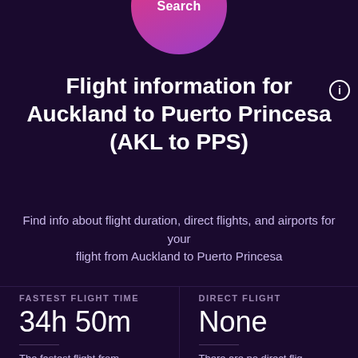Search
Flight information for Auckland to Puerto Princesa (AKL to PPS)
Find info about flight duration, direct flights, and airports for your flight from Auckland to Puerto Princesa
FASTEST FLIGHT TIME
34h 50m
The fastest flight from Auckland to Puerto Princesa takes 34h 50m
DIRECT FLIGHT
None
There are no direct flights from Auckland to Puerto Princesa